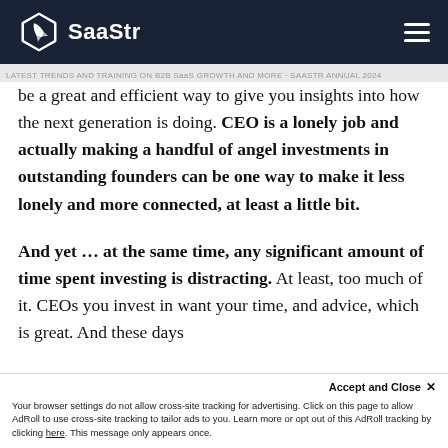SaaStr
be a great and efficient way to give you insights into how the next generation is doing. CEO is a lonely job and actually making a handful of angel investments in outstanding founders can be one way to make it less lonely and more connected, at least a little bit.
And yet … at the same time, any significant amount of time spent investing is distracting. At least, too much of it. CEOs you invest in want your time, and advice, which is great. And these days
Accept and Close ✕
Your browser settings do not allow cross-site tracking for advertising. Click on this page to allow AdRoll to use cross-site tracking to tailor ads to you. Learn more or opt out of this AdRoll tracking by clicking here. This message only appears once.